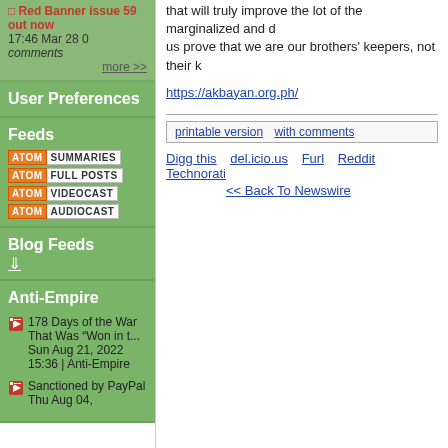Red Banner issue 59 out now 17:46 Mar 28 0 comments
more >>
User Preferences
Feeds
ATOM SUMMARIES | ATOM FULL POSTS | ATOM VIDEOCAST | ATOM AUDIOCAST
Blog Feeds
⇓
Anti-Empire
178 Days of the War That Was “Won in t... Sun Aug 21, 2022 15:36 | Anti-Empire
Sanctioned by PayPal Thu Aug 04,
that will truly improve the lot of the marginalized and d us prove that we are our brothers' keepers, not their k
https://akbayan.org.ph/
printable version  with comments
Digg this  del.icio.us  Furl  Reddit  Technorati
<< Back To Newswire